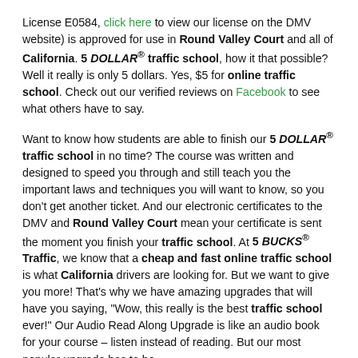License E0584, click here to view our license on the DMV website) is approved for use in Round Valley Court and all of California. 5 DOLLAR® traffic school, how it that possible? Well it really is only 5 dollars. Yes, $5 for online traffic school. Check out our verified reviews on Facebook to see what others have to say.
Want to know how students are able to finish our 5 DOLLAR® traffic school in no time? The course was written and designed to speed you through and still teach you the important laws and techniques you will want to know, so you don't get another ticket. And our electronic certificates to the DMV and Round Valley Court mean your certificate is sent the moment you finish your traffic school. At 5 BUCKS® Traffic, we know that a cheap and fast online traffic school is what California drivers are looking for. But we want to give you more! That's why we have amazing upgrades that will have you saying, "Wow, this really is the best traffic school ever!" Our Audio Read Along Upgrade is like an audio book for your course – listen instead of reading. But our most popular upgrade has to be